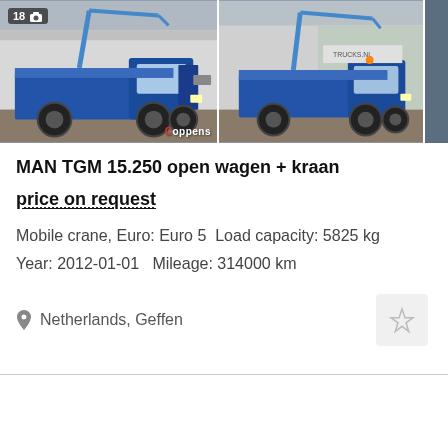[Figure (photo): Two photos of a blue MAN TGM 15.250 truck with crane (open wagen + kraan) shown side by side. Left photo has a badge showing 18 images and a camera icon. A 'Coppens' watermark appears on the left photo. Both photos show the truck from a similar angle in a dealership lot.]
MAN TGM 15.250 open wagen + kraan
price on request
Mobile crane, Euro: Euro 5  Load capacity: 5825 kg
Year: 2012-01-01  Mileage: 314000 km
Netherlands, Geffen